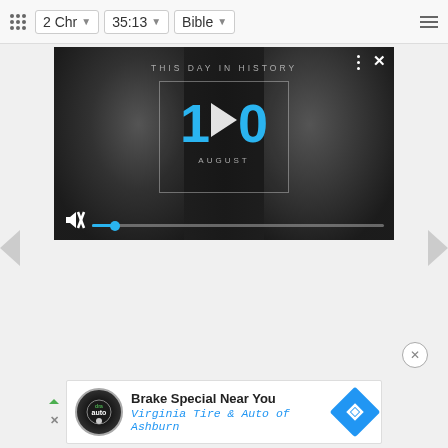2 Chr  35:13  Bible
[Figure (screenshot): Video player showing 'This Day in History' with date August 10, play button overlay, mute icon, and progress bar with blue dot. Dark background with historical black and white figures.]
[Figure (screenshot): Advertisement banner: Brake Special Near You - Virginia Tire & Auto of Ashburn, with logo and blue navigation icon]